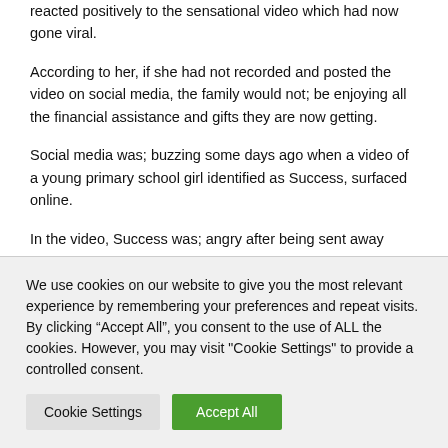reacted positively to the sensational video which had now gone viral.
According to her, if she had not recorded and posted the video on social media, the family would not; be enjoying all the financial assistance and gifts they are now getting.
Social media was; buzzing some days ago when a video of a young primary school girl identified as Success, surfaced online.
In the video, Success was; angry after being sent away
We use cookies on our website to give you the most relevant experience by remembering your preferences and repeat visits. By clicking “Accept All”, you consent to the use of ALL the cookies. However, you may visit "Cookie Settings" to provide a controlled consent.